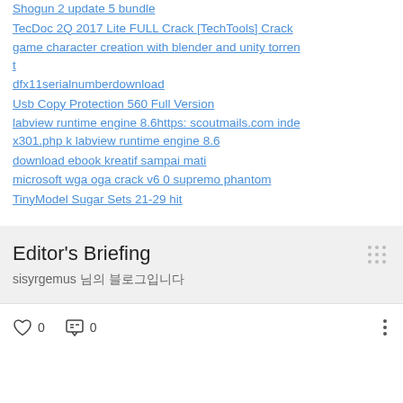Shogun 2 update 5 bundle
TecDoc 2Q 2017 Lite FULL Crack [TechTools] Crack
game character creation with blender and unity torrent
dfx11serialnumberdownload
Usb Copy Protection 560 Full Version
labview runtime engine 8.6https: scoutmails.com index301.php k labview runtime engine 8.6
download ebook kreatif sampai mati
microsoft wga oga crack v6 0 supremo phantom
TinyModel Sugar Sets 21-29 hit
Editor's Briefing
sisyrgemus 님의 블로그입니다